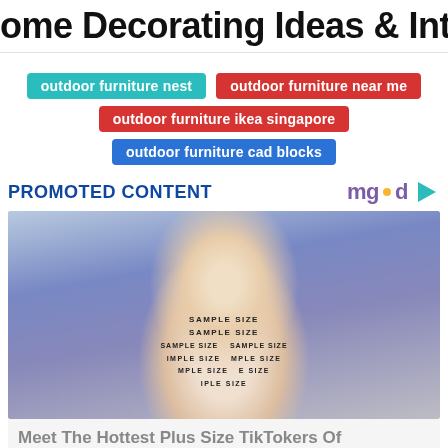ome Decorating Ideas & Interior Des
outdoor furniture nest
outdoor furniture near me
outdoor furniture ikea singapore
outdoor furniture cad blocks
PROMOTED CONTENT
[Figure (photo): A plus-size woman walking a runway wearing a white dress covered in 'SAMPLE SIZE' text labels. The photo is part of a promoted content widget.]
Meet The Hottest Plus Size TikTokers Of The Moment